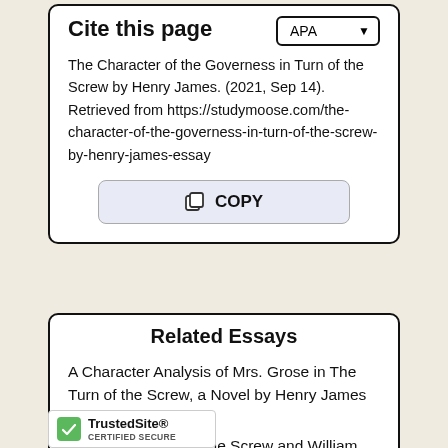Cite this page
The Character of the Governess in Turn of the Screw by Henry James. (2021, Sep 14). Retrieved from https://studymoose.com/the-character-of-the-governess-in-turn-of-the-screw-by-henry-james-essay
Related Essays
A Character Analysis of Mrs. Grose in The Turn of the Screw, a Novel by Henry James
Pages: 3 (601 words)
ames's The Turn of the Screw and William 's Lord of the Flies